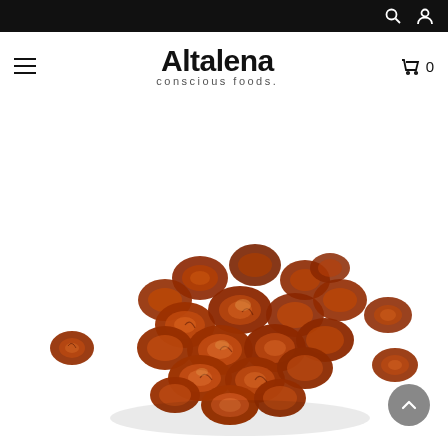Altalena conscious foods. — website header with search and account icons, hamburger menu, and cart (0)
[Figure (photo): Pile of dried cherry tomatoes (sun-dried or semi-dried), reddish-brown in color, on a white background. A few individual pieces are scattered around the main pile.]